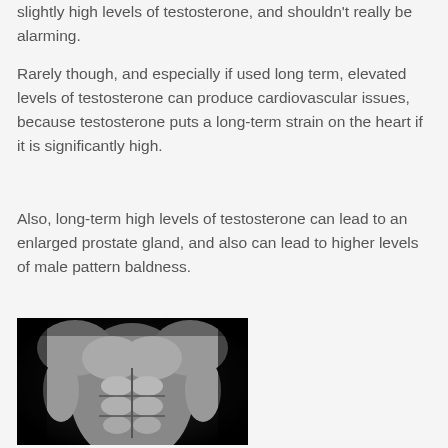slightly high levels of testosterone, and shouldn't really be alarming.
Rarely though, and especially if used long term, elevated levels of testosterone can produce cardiovascular issues, because testosterone puts a long-term strain on the heart if it is significantly high.
Also, long-term high levels of testosterone can lead to an enlarged prostate gland, and also can lead to higher levels of male pattern baldness.
[Figure (photo): Black and white photograph of a muscular male torso showing defined abdominal and chest muscles against a dark background.]